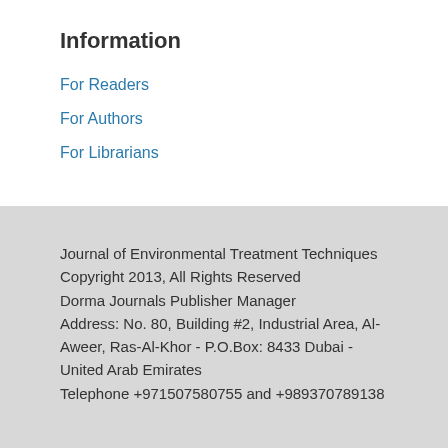Information
For Readers
For Authors
For Librarians
Journal of Environmental Treatment Techniques
Copyright 2013, All Rights Reserved
Dorma Journals Publisher Manager
Address: No. 80, Building #2, Industrial Area, Al-Aweer, Ras-Al-Khor - P.O.Box: 8433 Dubai - United Arab Emirates
Telephone +971507580755 and +989370789138